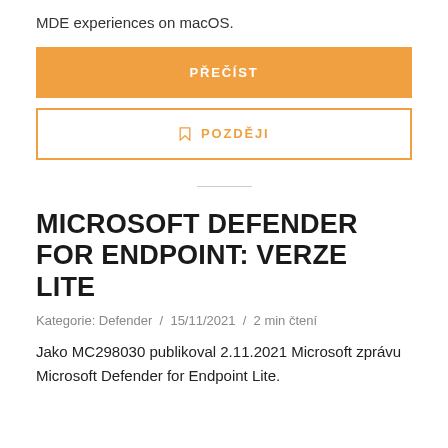MDE experiences on macOS.
PŘEČÍST
🔖 POZDĚJI
MICROSOFT DEFENDER FOR ENDPOINT: VERZE LITE
Kategorie: Defender  /  15/11/2021  /  2 min čtení
Jako MC298030 publikoval 2.11.2021 Microsoft zprávu Microsoft Defender for Endpoint Lite.